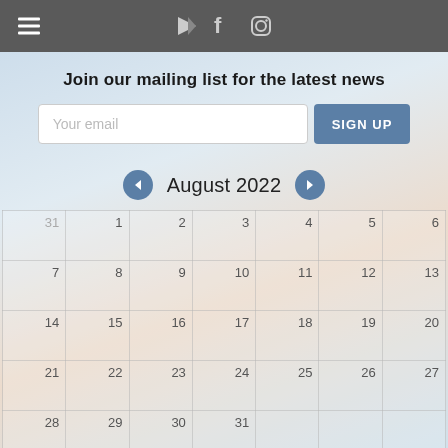≡  ▶ f ⊙
Join our mailing list for the latest news
Your email  SIGN UP
August 2022
| Sun | Mon | Tue | Wed | Thu | Fri | Sat |
| --- | --- | --- | --- | --- | --- | --- |
| 31 | 1 | 2 | 3 | 4 | 5 | 6 |
| 7 | 8 | 9 | 10 | 11 | 12 | 13 |
| 14 | 15 | 16 | 17 | 18 | 19 | 20 |
| 21 | 22 | 23 | 24 | 25 | 26 | 27 |
| 28 | 29 | 30 | 31 |  |  |  |